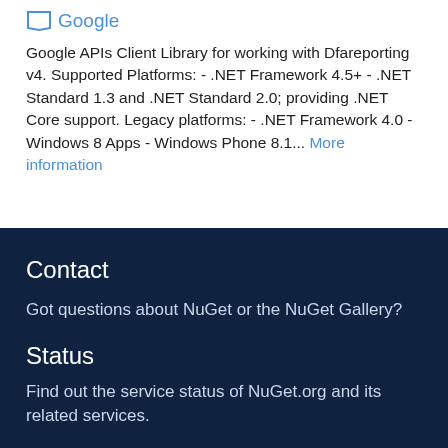[Figure (logo): Google tag/label icon with Google text in blue]
Google APIs Client Library for working with Dfareporting v4. Supported Platforms: - .NET Framework 4.5+ - .NET Standard 1.3 and .NET Standard 2.0; providing .NET Core support. Legacy platforms: - .NET Framework 4.0 - Windows 8 Apps - Windows Phone 8.1... More information
Contact
Got questions about NuGet or the NuGet Gallery?
Status
Find out the service status of NuGet.org and its related services.